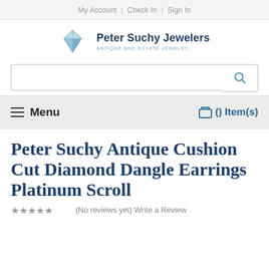My Account | Check In | Sign In
[Figure (logo): Peter Suchy Jewelers logo with diamond icon. Text: Peter Suchy Jewelers, ANTIQUE AND ESTATE JEWELRY]
[Figure (other): Search bar with text input and magnifying glass button]
≡ Menu    🛒 () Item(s)
Peter Suchy Antique Cushion Cut Diamond Dangle Earrings Platinum Scroll
★★★★☆ (No reviews yet) Write a Review